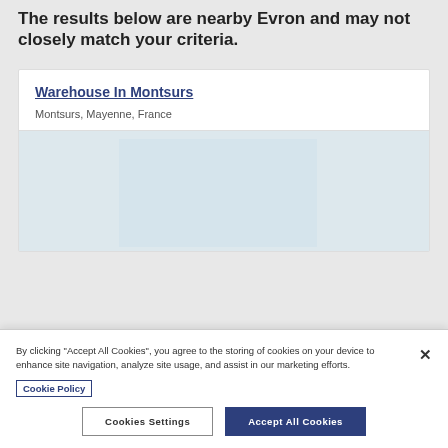The results below are nearby Evron and may not closely match your criteria.
Warehouse In Montsurs
Montsurs, Mayenne, France
[Figure (photo): Placeholder image area for warehouse listing photo]
By clicking "Accept All Cookies", you agree to the storing of cookies on your device to enhance site navigation, analyze site usage, and assist in our marketing efforts.
Cookie Policy
Cookies Settings
Accept All Cookies